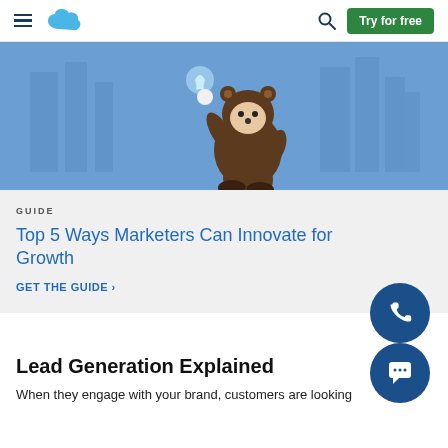Salesforce navigation bar with hamburger menu, Salesforce cloud logo, search icon, and Try for free button
[Figure (illustration): Salesforce Astro mascot character wearing a brown bear hoodie, holding a glowing blue lightbulb, standing in front of a blue cityscape background]
GUIDE
Top 5 Ways Marketers Can Innovate for Growth
GET THE GUIDE ›
Lead Generation Explained
When they engage with your brand, customers are looking